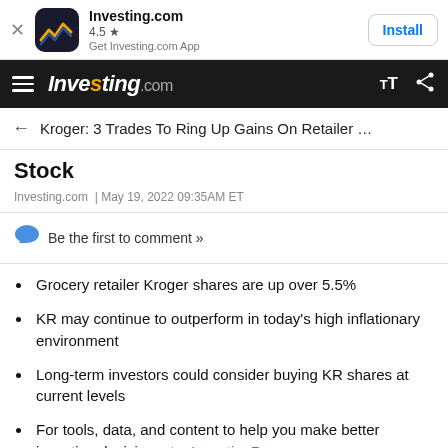[Figure (screenshot): Investing.com app install banner with logo, 4.5 star rating, and Install button]
Investing.com navigation bar with hamburger menu, Investing.com logo, text size and share icons
← Kroger: 3 Trades To Ring Up Gains On Retailer …
Stock
Investing.com  |  May 19, 2022 09:35AM ET
Be the first to comment »
Grocery retailer Kroger shares are up over 5.5%
KR may continue to outperform in today's high inflationary environment
Long-term investors could consider buying KR shares at current levels
For tools, data, and content to help you make better investing decisions, try InvestingPro